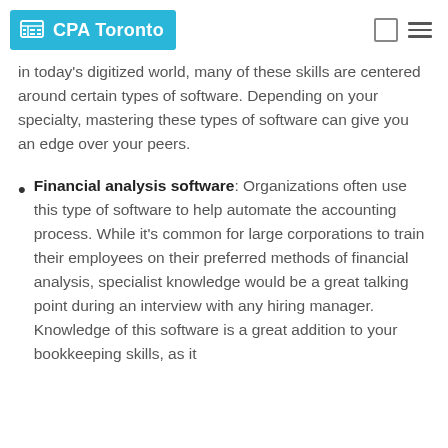CPA Toronto
in today's digitized world, many of these skills are centered around certain types of software. Depending on your specialty, mastering these types of software can give you an edge over your peers.
Financial analysis software: Organizations often use this type of software to help automate the accounting process. While it's common for large corporations to train their employees on their preferred methods of financial analysis, specialist knowledge would be a great talking point during an interview with any hiring manager. Knowledge of this software is a great addition to your bookkeeping skills, as it